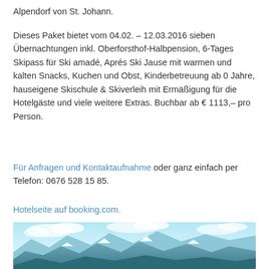Alpendorf von St. Johann.
Dieses Paket bietet vom 04.02. – 12.03.2016 sieben Übernachtungen inkl. Oberforsthof-Halbpension, 6-Tages Skipass für Ski amadé, Aprés Ski Jause mit warmen und kalten Snacks, Kuchen und Obst, Kinderbetreuung ab 0 Jahre, hauseigene Skischule & Skiverleih mit Ermäßigung für die Hotelgäste und viele weitere Extras. Buchbar ab € 1113,– pro Person.
Für Anfragen und Kontaktaufnahme oder ganz einfach per Telefon: 0676 528 15 85.
Hotelseite auf booking.com.
[Figure (photo): Snow-capped mountain peaks under a blue sky with clouds — alpine landscape photograph.]